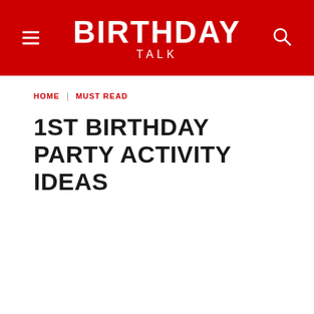BIRTHDAY TALK
HOME | MUST READ
1ST BIRTHDAY PARTY ACTIVITY IDEAS